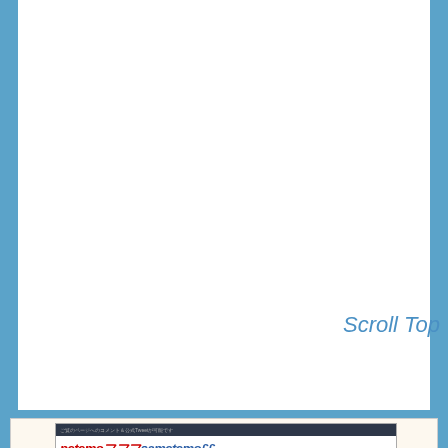Scroll Top
[Figure (screenshot): Screenshot of a Japanese website called 'netemoフフフsametemo££' with a dark header bar and social media icons (Twitter, YouTube, Facebook) below the logo text.]